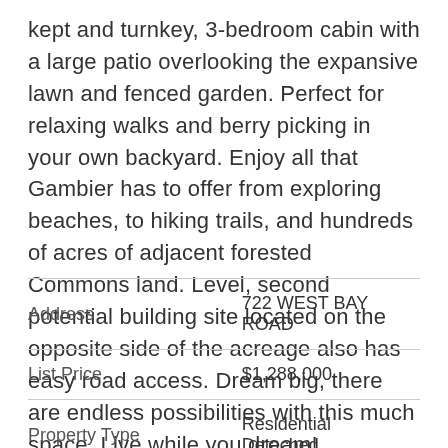kept and turnkey, 3-bedroom cabin with a large patio overlooking the expansive lawn and fenced garden. Perfect for relaxing walks and berry picking in your own backyard. Enjoy all that Gambier has to offer from exploring beaches, to hiking trails, and hundreds of acres of adjacent forested Commons land. Level, second potential building site located on the opposite side of the acreage also has easy road access. Dream big, there are endless possibilities with this much space. Live while you dream!
|  |  |
| --- | --- |
| Address | 722 WEST BAY ROAD |
| List Price | $1,288,000 |
| Property Type | Residential Detached |
| Type of Dwelling | House with Acreage |